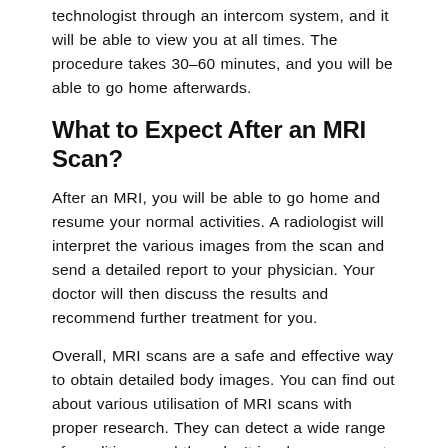technologist through an intercom system, and it will be able to view you at all times. The procedure takes 30–60 minutes, and you will be able to go home afterwards.
What to Expect After an MRI Scan?
After an MRI, you will be able to go home and resume your normal activities. A radiologist will interpret the various images from the scan and send a detailed report to your physician. Your doctor will then discuss the results and recommend further treatment for you.
Overall, MRI scans are a safe and effective way to obtain detailed body images. You can find out about various utilisation of MRI scans with proper research. They can detect a wide range of conditions, and they don't involve exposure to ionising radiation.
Share on Twitter
Facebook
WhatsApp
LinkedIn
Pin It